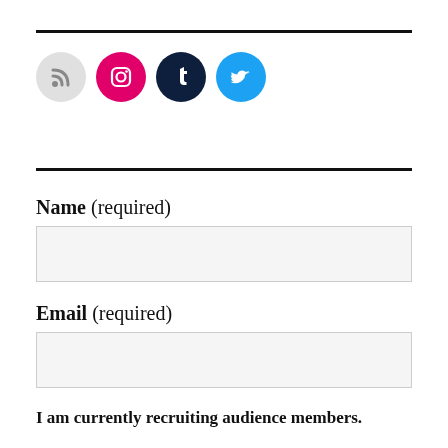[Figure (illustration): Four circular social media icons in a row: RSS (grey), Instagram (pink/magenta), Tumblr (dark navy), Twitter (light blue)]
Name (required)
Email (required)
I am currently recruiting audience members.